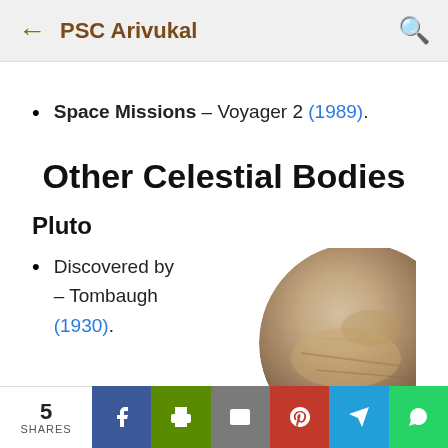PSC Arivukal
Space Missions – Voyager 2 (1989).
Other Celestial Bodies
Pluto
Discovered by – Tombaugh (1930).
[Figure (photo): Photograph of Pluto showing its surface with brownish/tan coloring]
5 SHARES | Facebook | Print | Email | Pinterest | Telegram | WhatsApp